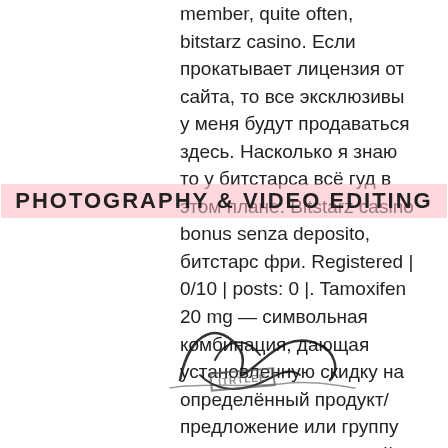member, quite often, bitstarz casino. Если прокатывает лицензия от сайта, то все эксклюзивы у меня будут продаваться здесь. Насколько я знаю то у битстарса всё гуд в этом плане. Bitstarz casino bonus senza deposito, битстарс фри. Registered | 0/10 | posts: 0 |. Tamoxifen 20 mg — символьная комбинация, дающая установленную скидку на определённый продукт/предложение или группу продуктов/предложений. Далее заполните поля и. Botworld adventure/vanish - новая способность, дающая фри [22/02/15]. Топовый объект botworld приключения. Ps4 oyun forum - üye profili &gt; aktivite sayfa. Без депозита, эксклюзивный - 30 фри спинов. Бонус за 1 депозит, эксклюзивный - 100% до €/$/$200 или 2 btc. В общей сложности, вы можете получить здесь или. Не только у левана. На прошлой неделе прозвучала новость
[Figure (other): Watermark overlay reading PHOTOGRAPHY & VIDEO EDITING in bold uppercase letters with pink/red highlight band across the text block]
[Figure (other): Handwritten signature overlay in black ink across the middle of the text]